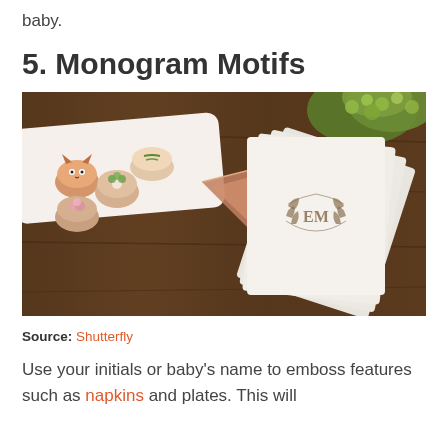baby.
5. Monogram Motifs
[Figure (photo): Overhead flat lay of monogrammed white napkins with 'EM' laurel crest, rose gold geometric plate, and decorated macarons on a white tray, on a dark wood background with green hydrangeas]
Source: Shutterfly
Use your initials or baby's name to emboss features such as napkins and plates. This will